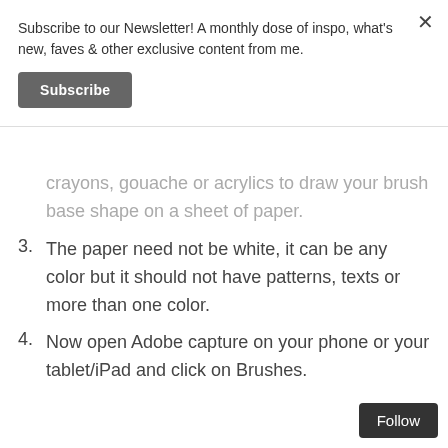Subscribe to our Newsletter! A monthly dose of inspo, what's new, faves & other exclusive content from me.
Subscribe
crayons, gouache or acrylics to draw your brush base shape on a sheet of paper.
3. The paper need not be white, it can be any color but it should not have patterns, texts or more than one color.
4. Now open Adobe capture on your phone or your tablet/iPad and click on Brushes.
Follow